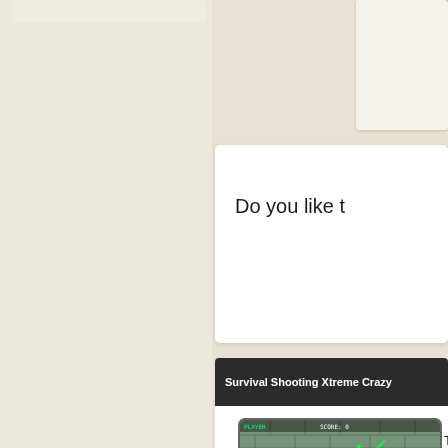[Figure (screenshot): Top-left card area on beige/cream sidebar background]
[Figure (screenshot): Top-right teal button and card area]
Do you like t
Survival Shooting Xtreme Crazy
[Figure (screenshot): Game screenshot showing 3D shooter game with cartoon characters in a stone arena]
Tags:
WAS
Survival Shooting Xtreme Crazy
[Figure (screenshot): Bottom row game thumbnails]